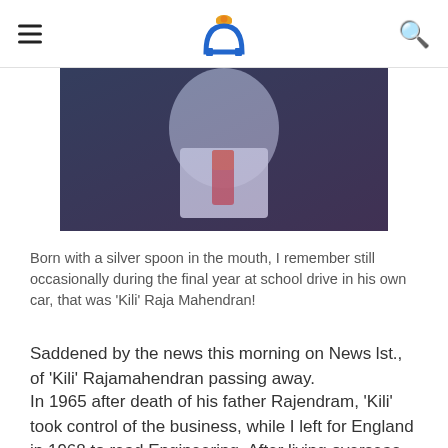[Logo: Mastheadonline] [Hamburger menu] [Search icon]
[Figure (photo): A blurry/pixelated photograph of a person in a white jacket with a colorful tie or sash, against a blue/dark background.]
Born with a silver spoon in the mouth, I remember still occasionally during the final year at school drive in his own car, that was 'Kili' Raja Mahendran!
Saddened by the news this morning on News lst., of 'Kili' Rajamahendran passing away.
In 1965 after death of his father Rajendram, 'Kili' took control of the business, while I left for England in 1968 to read Engineering. After living overseas returned to Jaffna in 1986. Thus after leaving school went our own ways and never met, but followed his progress and today his